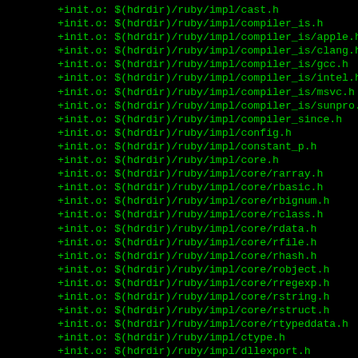+init.o: $(hdrdir)/ruby/impl/cast.h
+init.o: $(hdrdir)/ruby/impl/compiler_is.h
+init.o: $(hdrdir)/ruby/impl/compiler_is/apple.h
+init.o: $(hdrdir)/ruby/impl/compiler_is/clang.h
+init.o: $(hdrdir)/ruby/impl/compiler_is/gcc.h
+init.o: $(hdrdir)/ruby/impl/compiler_is/intel.h
+init.o: $(hdrdir)/ruby/impl/compiler_is/msvc.h
+init.o: $(hdrdir)/ruby/impl/compiler_is/sunpro.h
+init.o: $(hdrdir)/ruby/impl/compiler_since.h
+init.o: $(hdrdir)/ruby/impl/config.h
+init.o: $(hdrdir)/ruby/impl/constant_p.h
+init.o: $(hdrdir)/ruby/impl/core.h
+init.o: $(hdrdir)/ruby/impl/core/rarray.h
+init.o: $(hdrdir)/ruby/impl/core/rbasic.h
+init.o: $(hdrdir)/ruby/impl/core/rbignum.h
+init.o: $(hdrdir)/ruby/impl/core/rclass.h
+init.o: $(hdrdir)/ruby/impl/core/rdata.h
+init.o: $(hdrdir)/ruby/impl/core/rfile.h
+init.o: $(hdrdir)/ruby/impl/core/rhash.h
+init.o: $(hdrdir)/ruby/impl/core/robject.h
+init.o: $(hdrdir)/ruby/impl/core/rregexp.h
+init.o: $(hdrdir)/ruby/impl/core/rstring.h
+init.o: $(hdrdir)/ruby/impl/core/rstruct.h
+init.o: $(hdrdir)/ruby/impl/core/rtypeddata.h
+init.o: $(hdrdir)/ruby/impl/ctype.h
+init.o: $(hdrdir)/ruby/impl/dllexport.h
+init.o: $(hdrdir)/ruby/impl/dosish.h
+init.o: $(hdrdir)/ruby/impl/error.h
+init.o: $(hdrdir)/ruby/impl/eval.h
+init.o: $(hdrdir)/ruby/impl/event.h
+init.o: $(hdrdir)/ruby/impl/fl_type.h